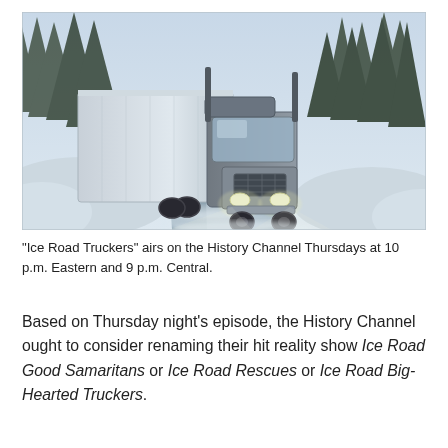[Figure (photo): A large semi-truck with a white trailer driving on a snow-covered road, headlights on, surrounded by snow-laden evergreen trees and deep snowbanks on either side. Black and white / desaturated wintry scene.]
“Ice Road Truckers” airs on the History Channel Thursdays at 10 p.m. Eastern and 9 p.m. Central.
Based on Thursday night’s episode, the History Channel ought to consider renaming their hit reality show Ice Road Good Samaritans or Ice Road Rescues or Ice Road Big-Hearted Truckers.